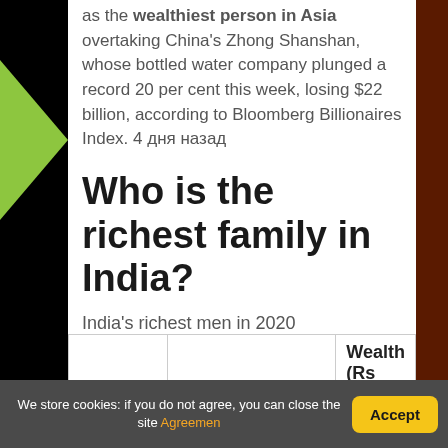as the wealthiest person in Asia overtaking China's Zhong Shanshan, whose bottled water company plunged a record 20 per cent this week, losing $22 billion, according to Bloomberg Billionaires Index. 4 дня назад
Who is the richest family in India?
India's richest men in 2020
|  |  | Wealth (Rs |
| --- | --- | --- |
We store cookies: if you do not agree, you can close the site Agreemen